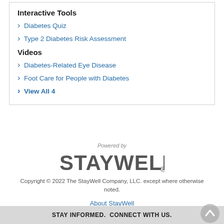Interactive Tools
Diabetes Quiz
Type 2 Diabetes Risk Assessment
Videos
Diabetes-Related Eye Disease
Foot Care for People with Diabetes
View All 4
Powered by
[Figure (logo): StayWell logo in dark gray text]
Copyright © 2022 The StayWell Company, LLC. except where otherwise noted.
About StayWell
STAY INFORMED.  CONNECT WITH US.